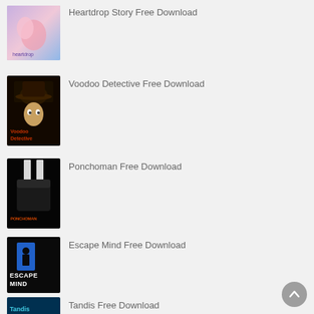Heartdrop Story Free Download
Voodoo Detective Free Download
Ponchoman Free Download
Escape Mind Free Download
Tandis Free Download